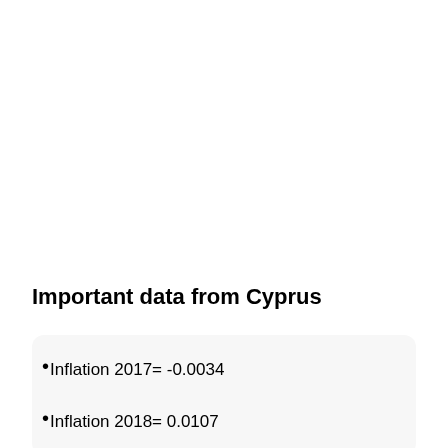Important data from Cyprus
Inflation 2017= -0.0034
Inflation 2018= 0.0107